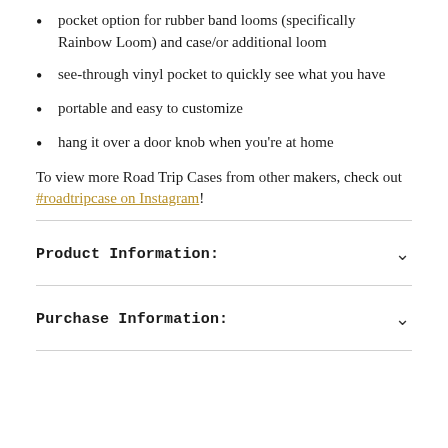pocket option for rubber band looms (specifically Rainbow Loom) and case/or additional loom
see-through vinyl pocket to quickly see what you have
portable and easy to customize
hang it over a door knob when you're at home
To view more Road Trip Cases from other makers, check out #roadtripcase on Instagram!
Product Information:
Purchase Information: